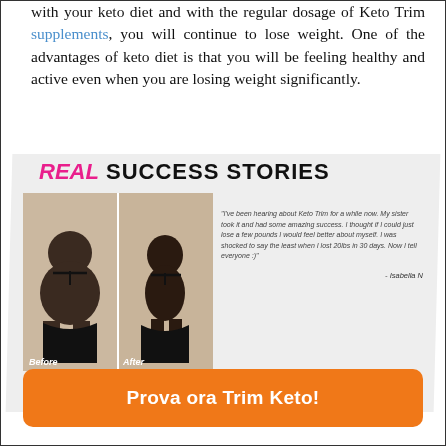with your keto diet and with the regular dosage of Keto Trim supplements, you will continue to lose weight. One of the advantages of keto diet is that you will be feeling healthy and active even when you are losing weight significantly.
REAL SUCCESS STORIES
[Figure (photo): Before and after photos of a woman showing weight loss transformation. Left photo labeled 'Before', right photo labeled 'After'.]
"I've been hearing about Keto Trim for a while now. My sister took it and had some amazing success. I thought if I could just lose a few pounds I would feel better about myself. I was shocked to say the least when I lost 20lbs in 30 days. Now I tell everyone :)"
- Isabella N
Prova ora Trim Keto!